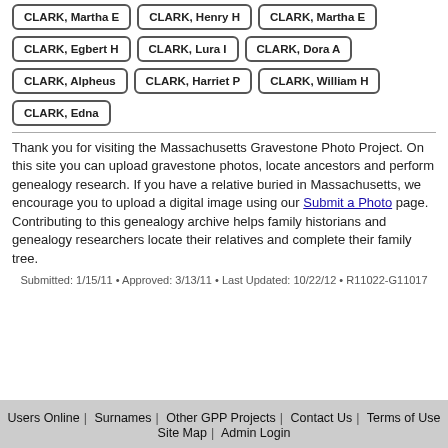CLARK, Martha E
CLARK, Henry H
CLARK, Martha E
CLARK, Egbert H
CLARK, Lura I
CLARK, Dora A
CLARK, Alpheus
CLARK, Harriet P
CLARK, William H
CLARK, Edna
Thank you for visiting the Massachusetts Gravestone Photo Project. On this site you can upload gravestone photos, locate ancestors and perform genealogy research. If you have a relative buried in Massachusetts, we encourage you to upload a digital image using our Submit a Photo page. Contributing to this genealogy archive helps family historians and genealogy researchers locate their relatives and complete their family tree.
Submitted: 1/15/11 • Approved: 3/13/11 • Last Updated: 10/22/12 • R11022-G11017
Users Online | Surnames | Other GPP Projects | Contact Us | Terms of Use | Site Map | Admin Login